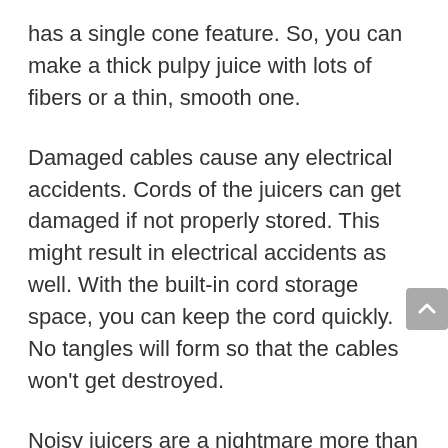has a single cone feature. So, you can make a thick pulpy juice with lots of fibers or a thin, smooth one.
Damaged cables cause any electrical accidents. Cords of the juicers can get damaged if not properly stored. This might result in electrical accidents as well. With the built-in cord storage space, you can keep the cord quickly. No tangles will form so that the cables won't get destroyed.
Noisy juicers are a nightmare more than a boon. Their screeching noise is enough to disturb the home's mental peace.